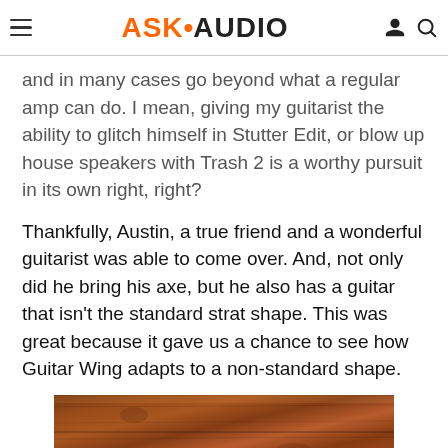ASK•AUDIO
and in many cases go beyond what a regular amp can do. I mean, giving my guitarist the ability to glitch himself in Stutter Edit, or blow up house speakers with Trash 2 is a worthy pursuit in its own right, right?
Thankfully, Austin, a true friend and a wonderful guitarist was able to come over. And, not only did he bring his axe, but he also has a guitar that isn't the standard strat shape. This was great because it gave us a chance to see how Guitar Wing adapts to a non-standard shape.
[Figure (photo): Close-up photo of wooden floor boards with rich warm brown tones and wood grain texture.]